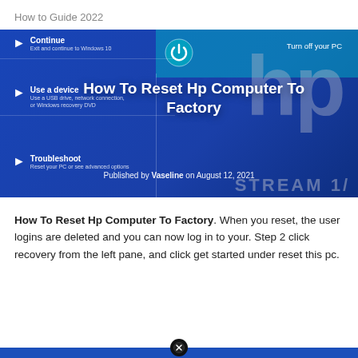How to Guide 2022
[Figure (screenshot): Windows recovery menu screenshot showing Continue, Turn off your PC, Use a device, and Troubleshoot options on a blue background, with HP logo watermark and the article title 'How To Reset Hp Computer To Factory' overlaid in white bold text, and byline 'Published by Vaseline on August 12, 2021']
How To Reset Hp Computer To Factory. When you reset, the user logins are deleted and you can now log in to your. Step 2 click recovery from the left pane, and click get started under reset this pc.